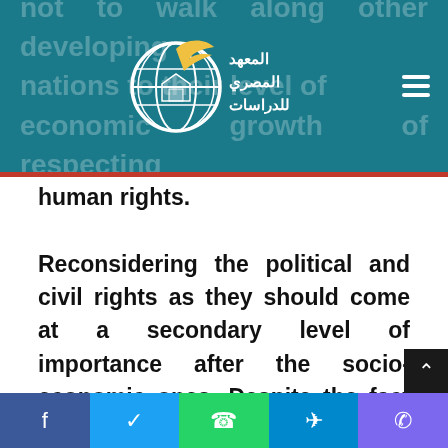not to walk along other developing nations to their level of economic growth of respecting human rights. [Header with logo: المعهد المصري للدراسات]
human rights.

Reconsidering the political and civil rights as they should come at a secondary level of importance after the socio-economic ones. Despite the fact that such teachings by the government are not a result of the full understanding of what the political
Social share bar: Facebook, Twitter, WhatsApp, Telegram, Phone